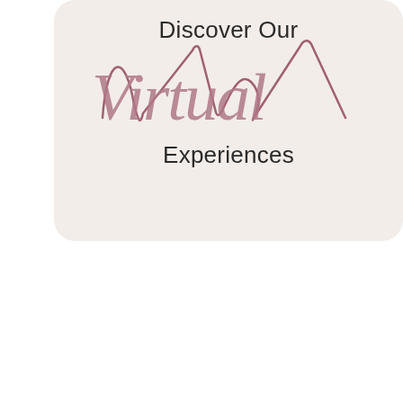Discover Our Virtual Experiences
[Figure (screenshot): Bottom section showing a book cover 'Becoming an Indigo Woman' on a beige/tan background with UI buttons for scroll-up and chat]